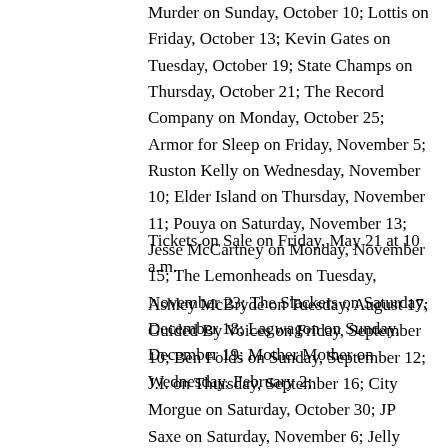Murder on Sunday, October 10; Lottis on Friday, October 13; Kevin Gates on Tuesday, October 19; State Champs on Thursday, October 21; The Record Company on Monday, October 25; Armor for Sleep on Friday, November 5; Ruston Kelly on Wednesday, November 10; Elder Island on Thursday, November 11; Pouya on Saturday, November 13; Jesse McCartney on Monday, November 15; The Lemonheads on Tuesday, November 23; The Slackers on Saturday, December 18; Lagwagon on Sunday, December 19; Mother Mother on Wednesday, February 2;
Tickets on Sale on Friday, May 21 at 10 a.m.
Ashley McBryde on Tuesday, August 17; Guided By Voices on Friday, September 10; Ben Folds on Sunday, September 12; J.I. on Thursday, September 16; City Morgue on Saturday, October 30; JP Saxe on Saturday, November 6; Jelly Roll on Friday, November 19; lovelytheband & Sir Sly on Wednesday, December 1; Juice on Friday, December 10; Ripe on Thursday, December 30 and on Friday, December 31; K. Flay on Thursday,